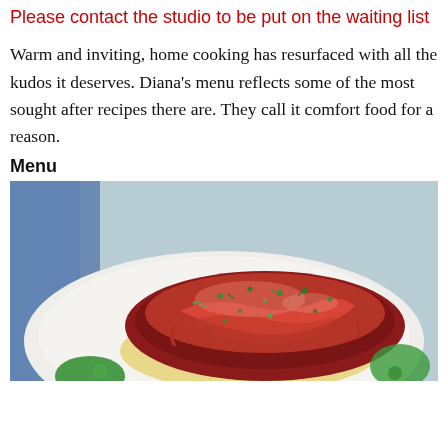Please contact the studio to be put on the waiting list
Warm and inviting, home cooking has resurfaced with all the kudos it deserves. Diana's menu reflects some of the most sought after recipes there are. They call it comfort food for a reason.
Menu
[Figure (photo): Close-up photo of a meat dish covered in red sauce, garnished with chopped herbs, served on a white plate over pasta or egg noodles, with blue cloth visible in background.]